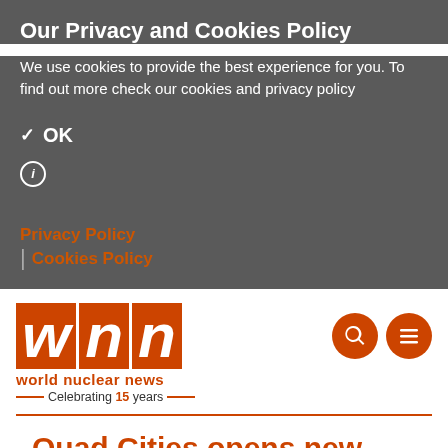Our Privacy and Cookies Policy
We use cookies to provide the best experience for you. To find out more check our cookies and privacy policy
✓ OK
ℹ
Privacy Policy
Cookies Policy
[Figure (logo): World Nuclear News (WNN) logo with orange block letters W, N, N, tagline 'world nuclear news', and 'Celebrating 15 years' with orange decorative lines. Search and menu icons on the right.]
Quad Cities opens new training centre